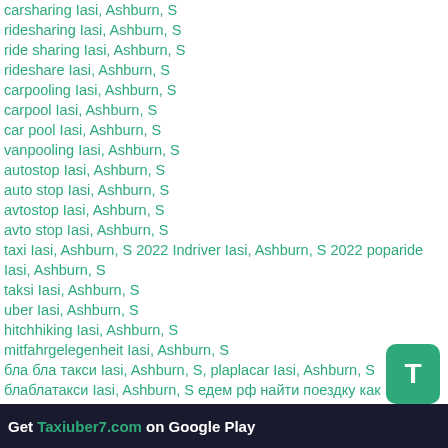carsharing Iasi, Ashburn, S
ridesharing Iasi, Ashburn, S
ride sharing Iasi, Ashburn, S
rideshare Iasi, Ashburn, S
carpooling Iasi, Ashburn, S
carpool Iasi, Ashburn, S
car pool Iasi, Ashburn, S
vanpooling Iasi, Ashburn, S
autostop Iasi, Ashburn, S
auto stop Iasi, Ashburn, S
avtostop Iasi, Ashburn, S
avto stop Iasi, Ashburn, S
taxi Iasi, Ashburn, S 2022 Indriver Iasi, Ashburn, S 2022 poparide Iasi, Ashburn, S
taksi Iasi, Ashburn, S
uber Iasi, Ashburn, S
hitchhiking Iasi, Ashburn, S
mitfahrgelegenheit Iasi, Ashburn, S
бла бла такси Iasi, Ashburn, S, plaplacar Iasi, Ashburn, S
блаблатакси Iasi, Ashburn, S едем рф найти поездку как пассажир Iasi, Ashburn, S, едем попутчики в Iasi, Ashburn, S, едем попутчики из Iasi, Ashburn, S попутчик онлайн Ashburn, S бла бла car Iasi, Ashburn, Sblabla кар
такси Iasi, Ashburn, S
такси убер Iasi, Ashburn, S, едем Iasi, Ashburn, S, едем.рф Iasi, Ashburn, S Такси убер Ashburn, S
Get Taxiuber7.com on Google Play